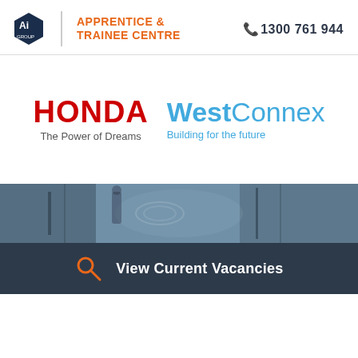[Figure (logo): Ai Group Apprentice & Trainee Centre logo with orange text and Ai group emblem]
1300 761 944
[Figure (logo): Honda logo — red bold text HONDA with tagline 'The Power of Dreams']
[Figure (logo): WestConnex logo — blue text with tagline 'Building for the future']
[Figure (photo): Dark industrial/mechanical background photo, blueish tone]
View Current Vacancies